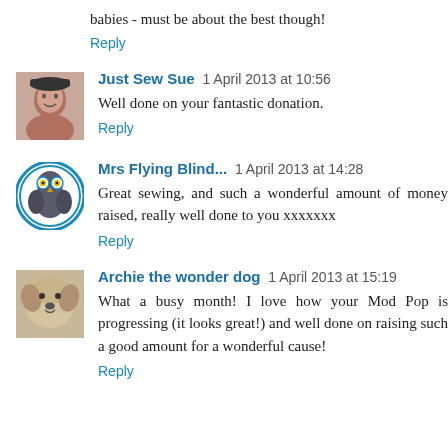babies - must be about the best though!
Reply
Just Sew Sue  1 April 2013 at 10:56
Well done on your fantastic donation.
Reply
Mrs Flying Blind...  1 April 2013 at 14:28
Great sewing, and such a wonderful amount of money raised, really well done to you xxxxxxx
Reply
Archie the wonder dog  1 April 2013 at 15:19
What a busy month! I love how your Mod Pop is progressing (it looks great!) and well done on raising such a good amount for a wonderful cause!
Reply